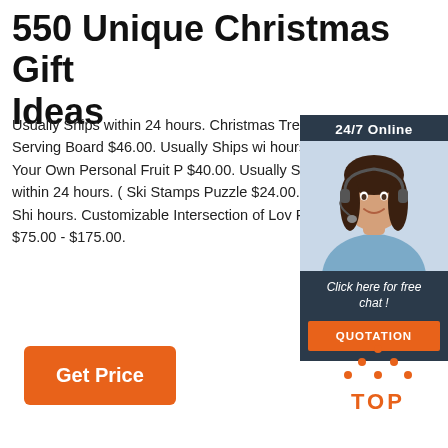550 Unique Christmas Gift Ideas
Usually Ships within 24 hours. Christmas Tree Serving Board $46.00. Usually Ships within 24 hours. Make Your Own Personal Fruit P $40.00. Usually Ships within 24 hours. ( Ski Stamps Puzzle $24.00. Usually Ships within 24 hours. Customizable Intersection of Love Print $75.00 - $175.00.
[Figure (photo): Customer service representative widget with '24/7 Online' header, woman with headset, 'Click here for free chat!' text, and orange QUOTATION button]
Get Price
[Figure (other): Orange 'TOP' button with dotted triangle above, indicating scroll-to-top navigation]